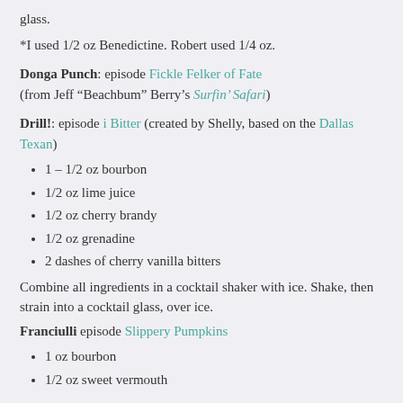glass.
*I used 1/2 oz Benedictine. Robert used 1/4 oz.
Donga Punch: episode Fickle Felker of Fate (from Jeff “Beachbum” Berry’s Surfin’ Safari)
Drill!: episode i Bitter (created by Shelly, based on the Dallas Texan)
1 – 1/2 oz bourbon
1/2 oz lime juice
1/2 oz cherry brandy
1/2 oz grenadine
2 dashes of cherry vanilla bitters
Combine all ingredients in a cocktail shaker with ice. Shake, then strain into a cocktail glass, over ice.
Franciulli episode Slippery Pumpkins
1 oz bourbon
1/2 oz sweet vermouth